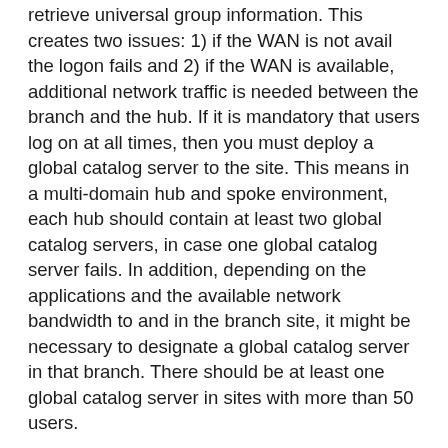retrieve universal group information. This creates two issues: 1) if the WAN is not avail the logon fails and 2) if the WAN is available, additional network traffic is needed between the branch and the hub. If it is mandatory that users log on at all times, then you must deploy a global catalog server to the site. This means in a multi-domain hub and spoke environment, each hub should contain at least two global catalog servers, in case one global catalog server fails. In addition, depending on the applications and the available network bandwidth to and in the branch site, it might be necessary to designate a global catalog server in that branch. There should be at least one global catalog server in sites with more than 50 users.
Now that you know where you need to place domain controllers and global catalog servers, let's look at where we decided to place domain controllers and global catalog servers in the sample environment.